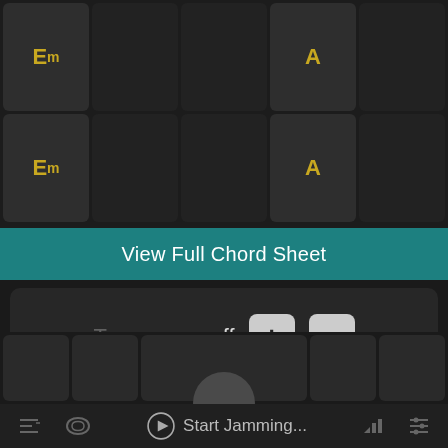[Figure (screenshot): Chord grid showing Em and A chord buttons arranged in a 2-row, 5-column grid with dark cells]
Em
A
Em
A
View Full Chord Sheet
Transpose  off
+
−
Save Tuning
Use Flats or Sharps ?
Start Jamming...